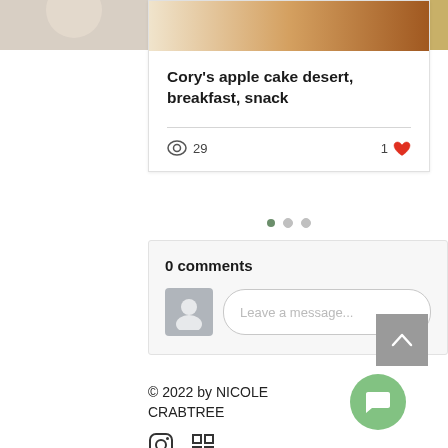[Figure (photo): Partial view of food photo at top of page]
Cory's apple cake desert, breakfast, snack
29 views · 1 like
[Figure (infographic): Carousel pagination dots: one green active, two grey inactive]
0 comments
[Figure (illustration): Avatar placeholder icon for comment input]
Leave a message...
© 2022 by NICOLE CRABTREE
[Figure (illustration): Green circular chat bubble button]